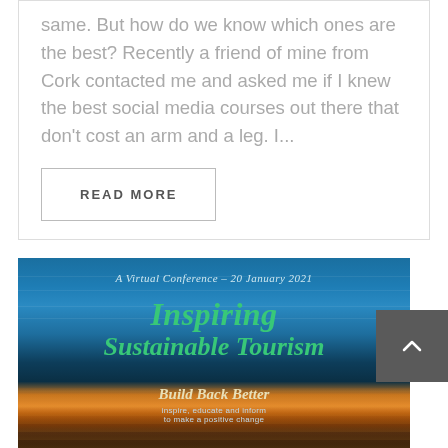same. But how do we know which ones are the best? Recently a friend of mine from Cork contacted me and asked me if I knew the best social media courses out there that don't cost an arm and a leg. I...
READ MORE
[Figure (illustration): Conference promotional image with sunset/ocean background. Text reads: 'A Virtual Conference - 20 January 2021', 'Inspiring Sustainable Tourism', 'Build Back Better', 'inspire, educate and inform to make a positive change']